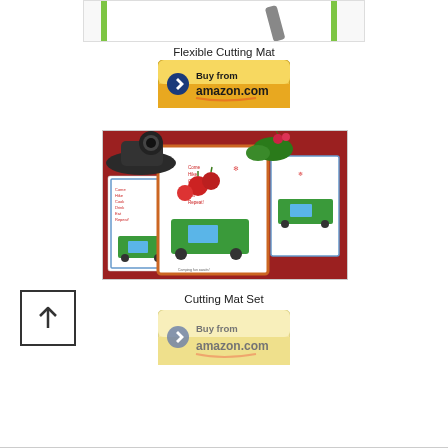[Figure (photo): Top portion of a flexible cutting mat product photo with green border on white background, partially visible at top of page]
Flexible Cutting Mat
[Figure (illustration): Buy from amazon.com button - golden yellow button with Amazon logo and arrow]
[Figure (photo): Photo of a cutting mat set displayed on a red fabric background with tomatoes, radishes, and a hat. Shows multiple white cutting mats with colorful camping/RV themed cross-stitch artwork and orange border mat.]
Cutting Mat Set
[Figure (illustration): Buy from amazon.com button - golden yellow button with Amazon logo and arrow (partially visible, faded)]